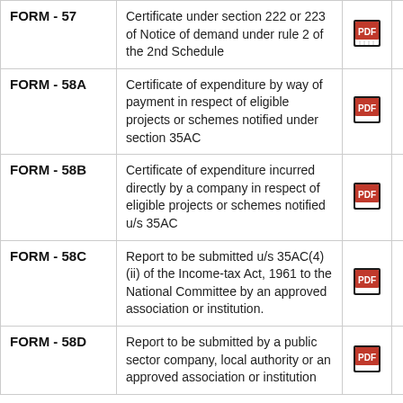| Form | Description | PDF | Word | Excel |
| --- | --- | --- | --- | --- |
| FORM - 57 | Certificate under section 222 or 223 of Notice of demand under rule 2 of the 2nd Schedule | [PDF] | [W] | [XL] |
| FORM - 58A | Certificate of expenditure by way of payment in respect of eligible projects or schemes notified under section 35AC | [PDF] | [W] | [XL] |
| FORM - 58B | Certificate of expenditure incurred directly by a company in respect of eligible projects or schemes notified u/s 35AC | [PDF] | [W] | [XL] |
| FORM - 58C | Report to be submitted u/s 35AC(4)(ii) of the Income-tax Act, 1961 to the National Committee by an approved association or institution. | [PDF] | [W] | [XL] |
| FORM - 58D | Report to be submitted by a public sector company, local authority or an approved association or institution | [PDF] | [W] | [XL] |